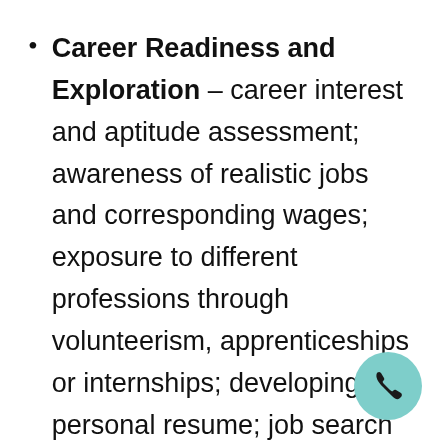Career Readiness and Exploration – career interest and aptitude assessment; awareness of realistic jobs and corresponding wages; exposure to different professions through volunteerism, apprenticeships or internships; developing a personal resume; job search techniques; applying for a job, completing job applications, obtaining reference letters; interviewing for a job, participation in mock interviews; appropriate dress and grooming based on industry/company norms; workplace etiquette; legal rights within the workplace; managing emotions in the